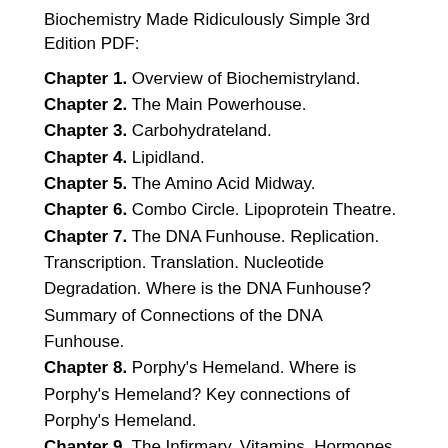Biochemistry Made Ridiculously Simple 3rd Edition PDF:
Chapter 1. Overview of Biochemistryland.
Chapter 2. The Main Powerhouse.
Chapter 3. Carbohydrateland.
Chapter 4. Lipidland.
Chapter 5. The Amino Acid Midway.
Chapter 6. Combo Circle. Lipoprotein Theatre.
Chapter 7. The DNA Funhouse. Replication. Transcription. Translation. Nucleotide Degradation. Where is the DNA Funhouse? Summary of Connections of the DNA Funhouse.
Chapter 8. Porphy's Hemeland. Where is Porphy's Hemeland? Key connections of Porphy's Hemeland.
Chapter 9. The Infirmary. Vitamins, Hormones, Minerals, Drugs, Lab tests.
Chapter 10. Clinical Review. A guided tour through Biochemistryland using the Biochemistryland map. Clinical